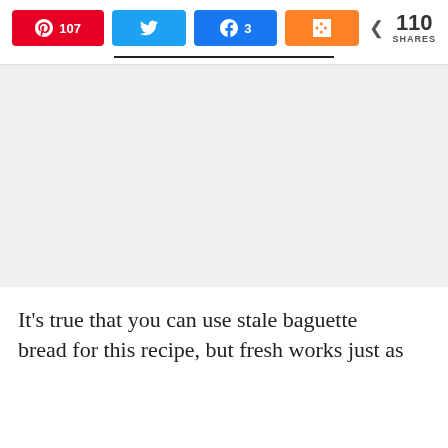[Figure (screenshot): Social share buttons row: Pinterest (107), Twitter, Facebook (3), Mix, and share count showing 110 SHARES]
[Figure (photo): Large placeholder image area (light gray background)]
It's true that you can use stale baguette bread for this recipe, but fresh works just as